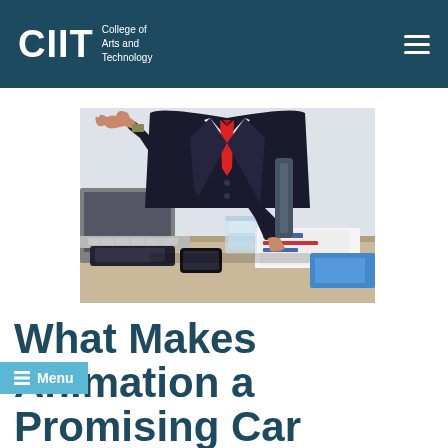CIIT College of Arts and Technology
[Figure (photo): A businessman in a dark suit with a red tie sitting at a desk with a laptop, gesturing with one hand raised, with documents and a glass jar on the desk in front of him.]
What Makes Animation a Promising Career i